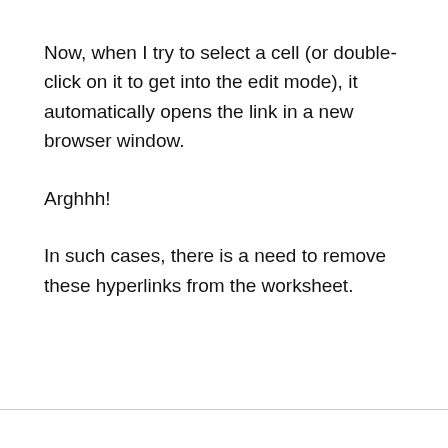Now, when I try to select a cell (or double-click on it to get into the edit mode), it automatically opens the link in a new browser window.
Arghhh!
In such cases, there is a need to remove these hyperlinks from the worksheet.